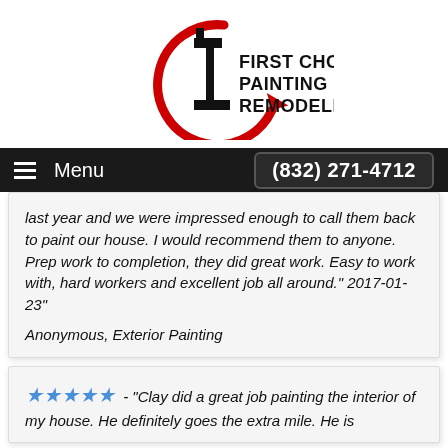[Figure (logo): First Choice Painting & Remodeling logo with red circular arrow and black number 1 with text]
Menu  (832) 271-4712
last year and we were impressed enough to call them back to paint our house. I would recommend them to anyone. Prep work to completion, they did great work. Easy to work with, hard workers and excellent job all around." 2017-01-23"
Anonymous, Exterior Painting
★★★★★ - "Clay did a great job painting the interior of my house. He definitely goes the extra mile. He is